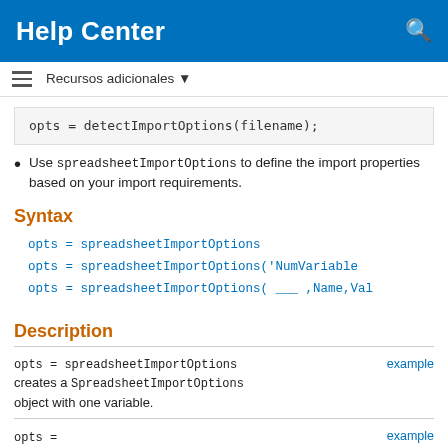Help Center
Recursos adicionales
opts = detectImportOptions(filename);
Use spreadsheetImportOptions to define the import properties based on your import requirements.
Syntax
opts = spreadsheetImportOptions
opts = spreadsheetImportOptions('NumVariable
opts = spreadsheetImportOptions( ___ ,Name,Val
Description
opts = spreadsheetImportOptions creates a SpreadsheetImportOptions object with one variable. example
opts = spreadsheetImportOptions('NumVari example